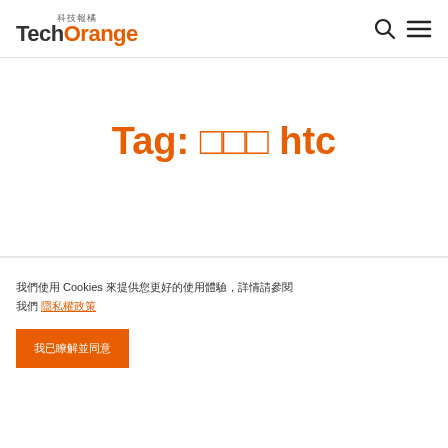TechOrange 科技報橘
Tag: □□□ htc
我們使用 Cookies 來提供您更好的使用體驗，詳情請參閱 隱私權政策
我已瞭解並同意